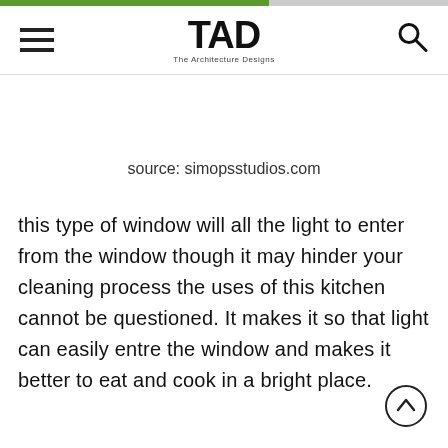TAD – The Architecture Designs
source: simopsstudios.com
this type of window will all the light to enter from the window though it may hinder your cleaning process the uses of this kitchen cannot be questioned. It makes it so that light can easily entre the window and makes it better to eat and cook in a bright place.